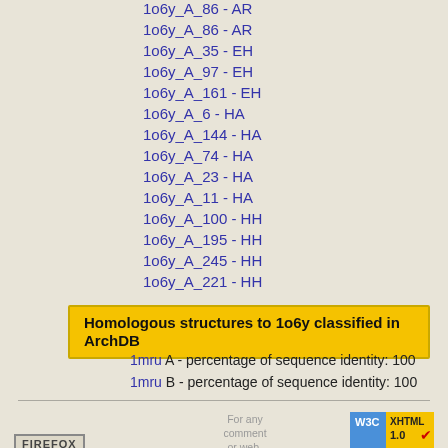1o6y_A_86 - AR
1o6y_A_35 - EH
1o6y_A_97 - EH
1o6y_A_161 - EH
1o6y_A_6 - HA
1o6y_A_144 - HA
1o6y_A_74 - HA
1o6y_A_23 - HA
1o6y_A_11 - HA
1o6y_A_100 - HH
1o6y_A_195 - HH
1o6y_A_245 - HH
1o6y_A_221 - HH
Homologous structures to 1o6y classified in ArchDB
1mru A - percentage of sequence identity: 100
1mru B - percentage of sequence identity: 100
For any comment or web-related incidence...